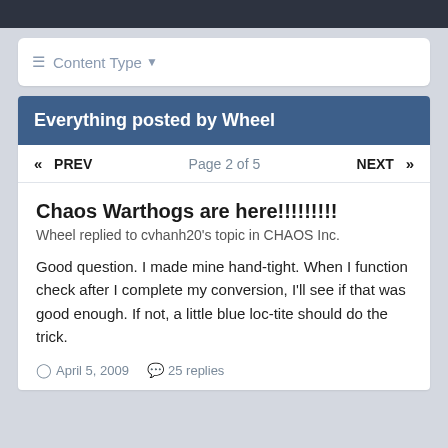≡ Content Type ▾
Everything posted by Wheel
« PREV   Page 2 of 5   NEXT »
Chaos Warthogs are here!!!!!!!!!
Wheel replied to cvhanh20's topic in CHAOS Inc.
Good question. I made mine hand-tight. When I function check after I complete my conversion, I'll see if that was good enough. If not, a little blue loc-tite should do the trick.
April 5, 2009   25 replies